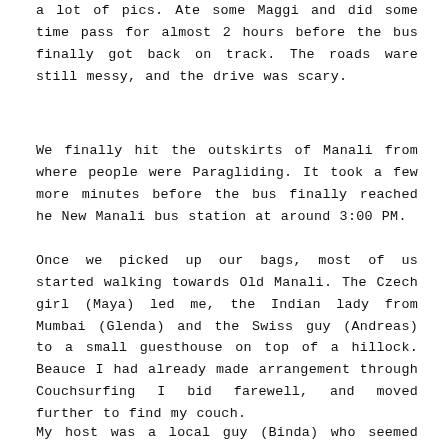a lot of pics. Ate some Maggi and did some time pass for almost 2 hours before the bus finally got back on track. The roads ware still messy, and the drive was scary.
We finally hit the outskirts of Manali from where people were Paragliding. It took a few more minutes before the bus finally reached he New Manali bus station at around 3:00 PM.
Once we picked up our bags, most of us started walking towards Old Manali. The Czech girl (Maya) led me, the Indian lady from Mumbai (Glenda) and the Swiss guy (Andreas) to a small guesthouse on top of a hillock. Beauce I had already made arrangement through Couchsurfing I bid farewell, and moved further to find my couch.
My host was a local guy (Binda) who seemed nice, on